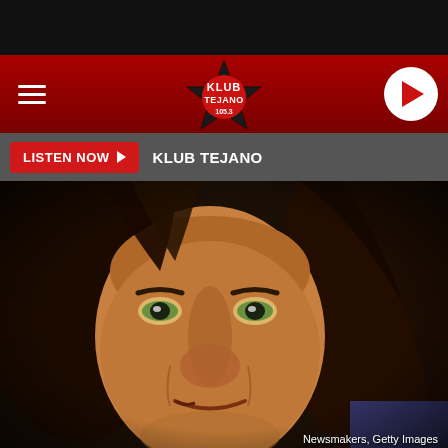KLUB TEJANO
LISTEN NOW ▶  KLUB TEJANO
[Figure (photo): Close-up photograph of Malcolm Young of AC/DC, with long dark hair, looking at the camera. Photo credit: Newsmakers, Getty Images.]
Newsmakers, Getty Images
FUNERAL SET FOR AC/DC'S